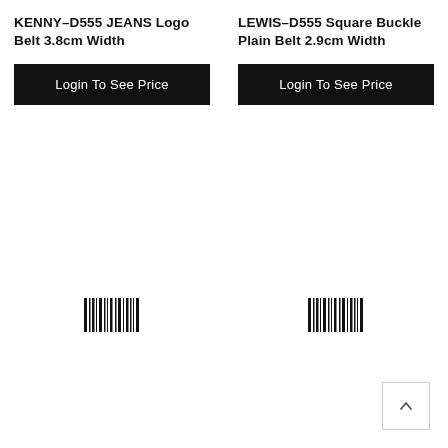KENNY-D555 JEANS Logo Belt 3.8cm Width
Login To See Price
LEWIS-D555 Square Buckle Plain Belt 2.9cm Width
Login To See Price
[Figure (other): Barcode icon left product]
[Figure (other): Barcode icon right product]
[Figure (other): Back to top arrow button]